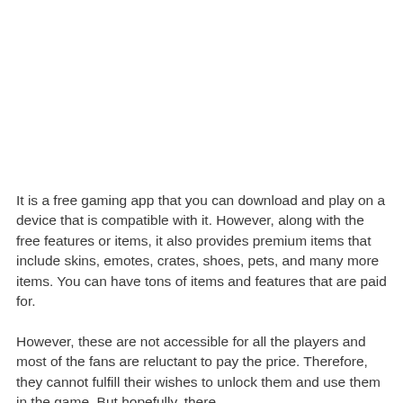It is a free gaming app that you can download and play on a device that is compatible with it. However, along with the free features or items, it also provides premium items that include skins, emotes, crates, shoes, pets, and many more items. You can have tons of items and features that are paid for.
However, these are not accessible for all the players and most of the fans are reluctant to pay the price. Therefore, they cannot fulfill their wishes to unlock them and use them in the game. But hopefully, there